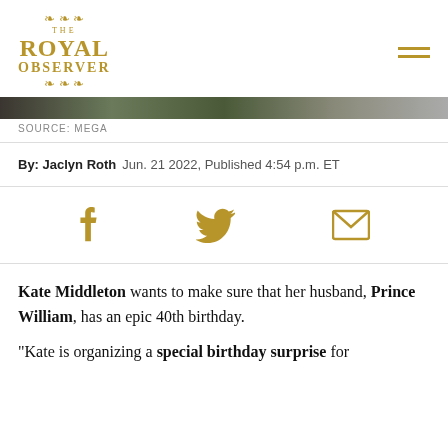The Royal Observer
[Figure (photo): Partial photo strip at top of article, showing blurred figures]
SOURCE: MEGA
By: Jaclyn Roth  Jun. 21 2022, Published 4:54 p.m. ET
[Figure (infographic): Social share icons: Facebook, Twitter, Email]
Kate Middleton wants to make sure that her husband, Prince William, has an epic 40th birthday.
“Kate is organizing a special birthday surprise for